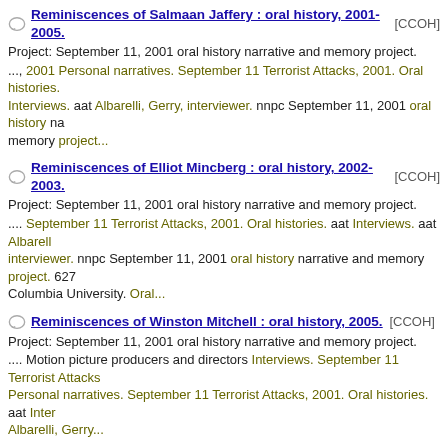Reminiscences of Salmaan Jaffery : oral history, 2001-2005. [CCOH] Project: September 11, 2001 oral history narrative and memory project. ..., 2001 Personal narratives. September 11 Terrorist Attacks, 2001. Oral histories. Interviews. aat Albarelli, Gerry, interviewer. nnpc September 11, 2001 oral history narrative and memory project...
Reminiscences of Elliot Mincberg : oral history, 2002-2003. [CCOH] Project: September 11, 2001 oral history narrative and memory project. .... September 11 Terrorist Attacks, 2001. Oral histories. aat Interviews. aat Albarelli, interviewer. nnpc September 11, 2001 oral history narrative and memory project. 627 Columbia University. Oral...
Reminiscences of Winston Mitchell : oral history, 2005. [CCOH] Project: September 11, 2001 oral history narrative and memory project. .... Motion picture producers and directors Interviews. September 11 Terrorist Attacks Personal narratives. September 11 Terrorist Attacks, 2001. Oral histories. aat Inter Albarelli, Gerry...
Reminiscences of Jerry Gombo : oral history, 2002. [CCOH] Project: September 11, 2001 response and recovery oral history project. ... to cite, quote, and reproduce. Contact repository for information. Name index available Jerry, 1944- Interviews. September 11 Terrorist Attacks, 2001. September 11 Terror 2001 Personal...
Reminiscences of Zette Emmons : oral history, 2005. [CCOH] Project: September 11, 2001 oral history narrative and memory project. ... repository for information. Name index available. Emmons, Zette Interviews. Septem Terrorist Attacks, 2001 Personal narratives. September 11 Terrorist Attacks, 2001. histories. aat Interviews. aat...
Reminiscences of Anthoula Katsimatides : oral history, 2001-2005. [CCO Project: September 11, 2001 oral history narrative and memory project.